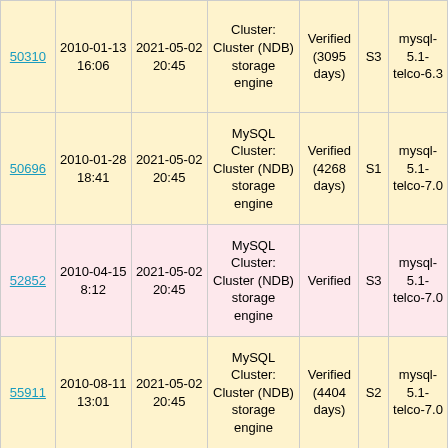| 50310 | 2010-01-13 16:06 | 2021-05-02 20:45 | Cluster: Cluster (NDB) storage engine | Verified (3095 days) | S3 | mysql-5.1-telco-6.3 |
| 50696 | 2010-01-28 18:41 | 2021-05-02 20:45 | MySQL Cluster: Cluster (NDB) storage engine | Verified (4268 days) | S1 | mysql-5.1-telco-7.0 |
| 52852 | 2010-04-15 8:12 | 2021-05-02 20:45 | MySQL Cluster: Cluster (NDB) storage engine | Verified | S3 | mysql-5.1-telco-7.0 |
| 55911 | 2010-08-11 13:01 | 2021-05-02 20:45 | MySQL Cluster: Cluster (NDB) storage engine | Verified (4404 days) | S2 | mysql-5.1-telco-7.0 |